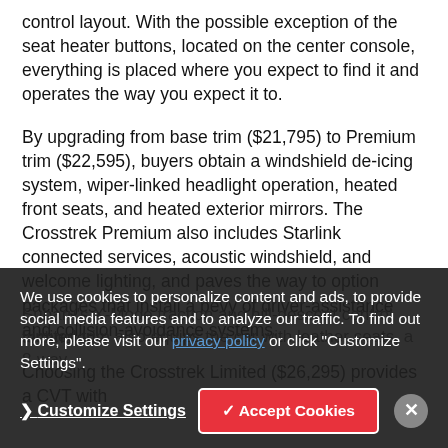control layout. With the possible exception of the seat heater buttons, located on the center console, everything is placed where you expect to find it and operates the way you expect it to.
By upgrading from base trim ($21,795) to Premium trim ($22,595), buyers obtain a windshield de-icing system, wiper-linked headlight operation, heated front seats, and heated exterior mirrors. The Crosstrek Premium also includes Starlink connected services, acoustic windshield, and welcome lighting, and paves the way to option packages that install a bevy of driver-assistance and collision-avoidance systems.
Choosing the Crosstrek Limited ($26,295) provides a CVT with Subaru's X-Mode traction and hill-descent control technology. Limited trim also equips the car with leather seats, a 8-way...
We use cookies to personalize content and ads, to provide social media features and to analyze our traffic. To find out more, please visit our privacy policy or click "Customize Settings".